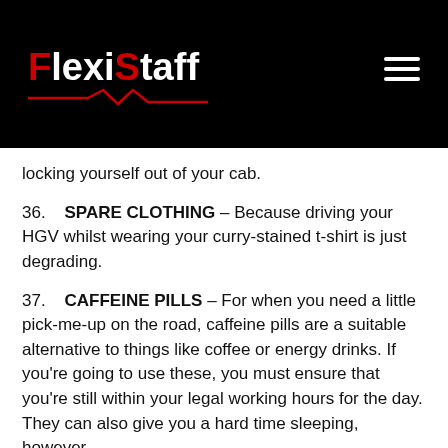[Figure (logo): FlexiStaff logo on black background with red zigzag underline, plus hamburger menu icon]
locking yourself out of your cab.
36.  SPARE CLOTHING – Because driving your HGV whilst wearing your curry-stained t-shirt is just degrading.
37.  CAFFEINE PILLS – For when you need a little pick-me-up on the road, caffeine pills are a suitable alternative to things like coffee or energy drinks. If you're going to use these, you must ensure that you're still within your legal working hours for the day. They can also give you a hard time sleeping, however.